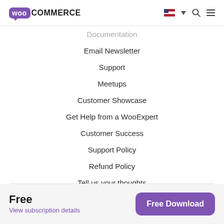WooCommerce
Documentation
Email Newsletter
Support
Meetups
Customer Showcase
Get Help from a WooExpert
Customer Success
Support Policy
Refund Policy
Tell us your thoughts
COVID-19 Resources
Free
View subscription details
Free Download